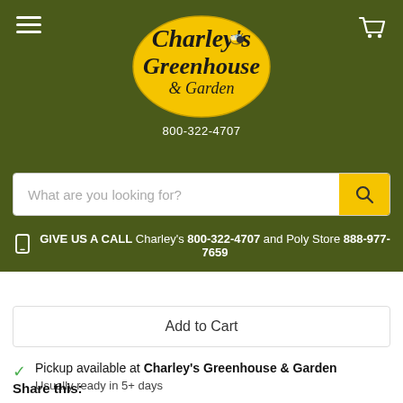[Figure (logo): Charley's Greenhouse & Garden oval yellow logo with bee and butterfly illustration]
800-322-4707
What are you looking for?
GIVE US A CALL Charley's 800-322-4707 and Poly Store 888-977-7659
Add to Cart
Pickup available at Charley's Greenhouse & Garden
Usually ready in 5+ days
View store information
Share this: